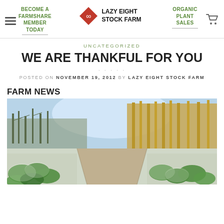Lazy Eight Stock Farm — navigation header with logo, BECOME A FARMSHARE MEMBER TODAY, ORGANIC PLANT SALES, cart icon
UNCATEGORIZED
WE ARE THANKFUL FOR YOU
POSTED ON NOVEMBER 19, 2012 BY LAZY EIGHT STOCK FARM
FARM NEWS
[Figure (photo): Frost-covered vegetable garden rows with green leafy plants in foreground, a dirt path through the middle, tall dry grass in the background on the right, and bare trees on the left under a bright winter sky.]